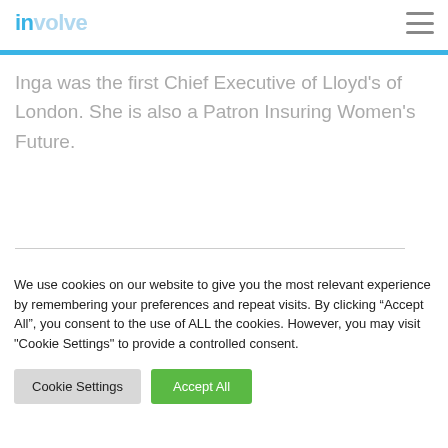involve
Inga was the first Chief Executive of Lloyd’s of London. She is also a Patron Insuring Women’s Future.
We use cookies on our website to give you the most relevant experience by remembering your preferences and repeat visits. By clicking “Accept All”, you consent to the use of ALL the cookies. However, you may visit "Cookie Settings" to provide a controlled consent.